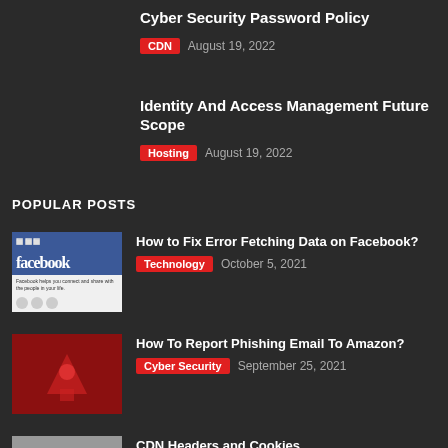Cyber Security Password Policy
CDN  August 19, 2022
Identity And Access Management Future Scope
Hosting  August 19, 2022
POPULAR POSTS
[Figure (photo): Facebook website screenshot showing the facebook logo and tagline]
How to Fix Error Fetching Data on Facebook?
Technology  October 5, 2021
[Figure (photo): Red background with hacker figure silhouette]
How To Report Phishing Email To Amazon?
Cyber Security  September 25, 2021
[Figure (photo): Grey/neutral thumbnail image]
CDN Headers and Cookies